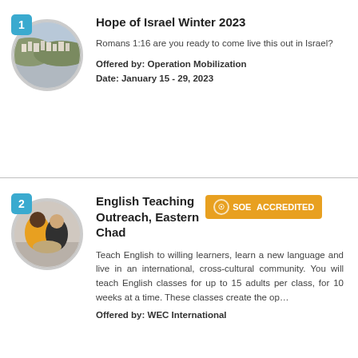Hope of Israel Winter 2023
[Figure (photo): Aerial view of an Israeli city with white buildings on hillside]
Romans 1:16 are you ready to come live this out in Israel?
Offered by: Operation Mobilization
Date: January 15 - 29, 2023
English Teaching Outreach, Eastern Chad
[Figure (photo): Two children sitting together, one in a yellow outfit]
[Figure (logo): SOE ACCREDITED badge in orange]
Teach English to willing learners, learn a new language and live in an international, cross-cultural community. You will teach English classes for up to 15 adults per class, for 10 weeks at a time. These classes create the op…
Offered by: WEC International